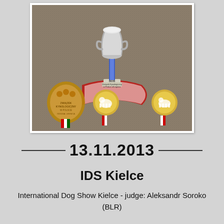[Figure (photo): Photo of dog show trophies and medals: a silver and blue cup trophy in the center with 'BOB Związek Kynologiczny w Polsce o/Legnica' on the base, surrounded by three medals with dog breed designs on red and white ribbons, and a bronze paw-print shaped medal from 'Związek Kynologiczny w Polsce Oddział Legnica', laid on a textured carpet background.]
13.11.2013
IDS Kielce
International Dog Show Kielce - judge: Aleksandr Soroko (BLR)